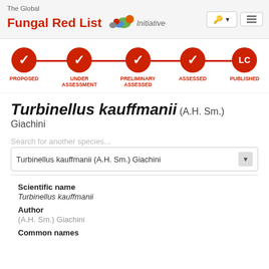The Global Fungal Red List Initiative
[Figure (infographic): Workflow progress tracker showing 5 steps: PROPOSED (checked), UNDER ASSESSMENT (checked), PRELIMINARY ASSESSED (checked), ASSESSED (checked), PUBLISHED (LC) — all in red circles connected by a red line]
Turbinellus kauffmanii (A.H. Sm.) Giachini
Search for another species...
Turbinellus kauffmanii (A.H. Sm.) Giachini
Scientific name
Turbinellus kauffmanii
Author
(A.H. Sm.) Giachini
Common names